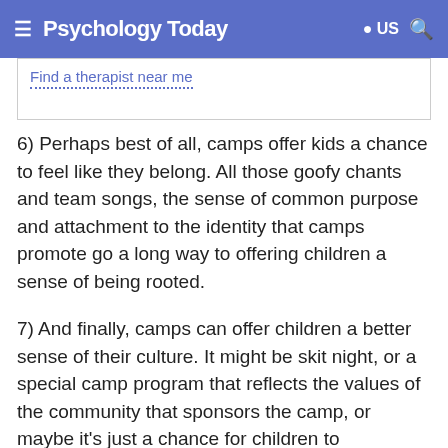Psychology Today
Find a therapist near me
6) Perhaps best of all, camps offer kids a chance to feel like they belong. All those goofy chants and team songs, the sense of common purpose and attachment to the identity that camps promote go a long way to offering children a sense of being rooted.
7) And finally, camps can offer children a better sense of their culture. It might be skit night, or a special camp program that reflects the values of the community that sponsors the camp, or maybe it's just a chance for children to understand